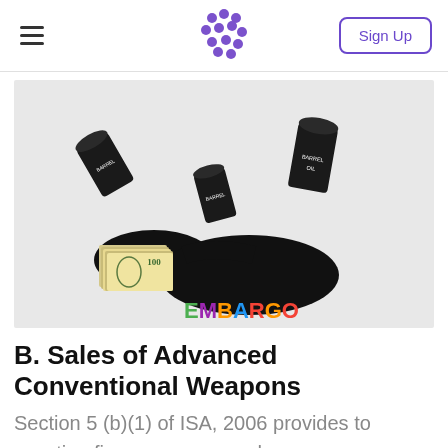Sign Up
[Figure (photo): Photo of three overturned black oil barrels spilling oil, a stack of US dollar bills, and colorful letter tiles spelling 'EMBARGO' on a white background.]
B. Sales of Advanced Conventional Weapons
Section 5 (b)(1) of ISA, 2006 provides to sanction firms or persons who are